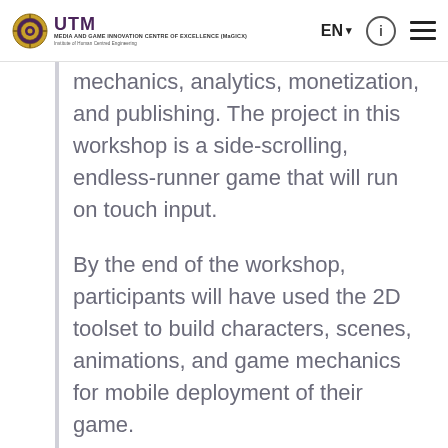UTM | MEDIA AND GAME INNOVATION CENTRE OF EXCELLENCE (MaGICX) | Institute of Human Centred Engineering | EN | (i) | menu
mechanics, analytics, monetization, and publishing. The project in this workshop is a side-scrolling, endless-runner game that will run on touch input.
By the end of the workshop, participants will have used the 2D toolset to build characters, scenes, animations, and game mechanics for mobile deployment of their game.